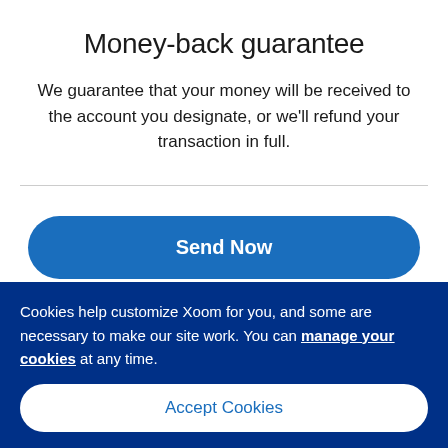Money-back guarantee
We guarantee that your money will be received to the account you designate, or we'll refund your transaction in full.
[Figure (other): Blue rounded 'Send Now' button]
Cookies help customize Xoom for you, and some are necessary to make our site work. You can manage your cookies at any time.
[Figure (other): White rounded 'Accept Cookies' button on dark blue cookie consent banner]